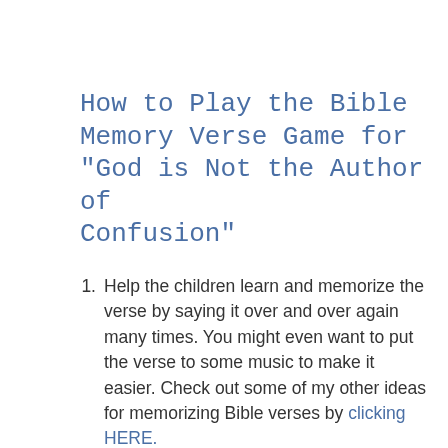How to Play the Bible Memory Verse Game for "God is Not the Author of Confusion"
Help the children learn and memorize the verse by saying it over and over again many times. You might even want to put the verse to some music to make it easier. Check out some of my other ideas for memorizing Bible verses by clicking HERE.
After your children have some level of comfort with knowing the verse, it's time to test them. Divide your class into 2 teams. Have one child go out of the room where they cannot see or hear what you are doing. Have the rest of the class mismatch